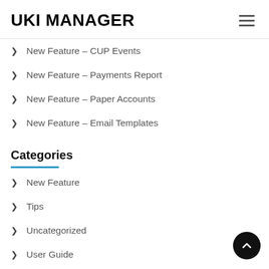UKI MANAGER
New Feature – CUP Events
New Feature – Payments Report
New Feature – Paper Accounts
New Feature – Email Templates
Categories
New Feature
Tips
Uncategorized
User Guide